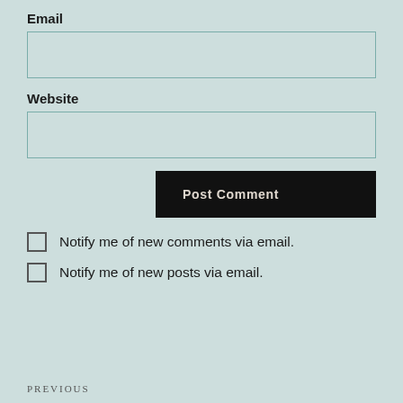Email
[Email input field]
Website
[Website input field]
Post Comment
Notify me of new comments via email.
Notify me of new posts via email.
PREVIOUS